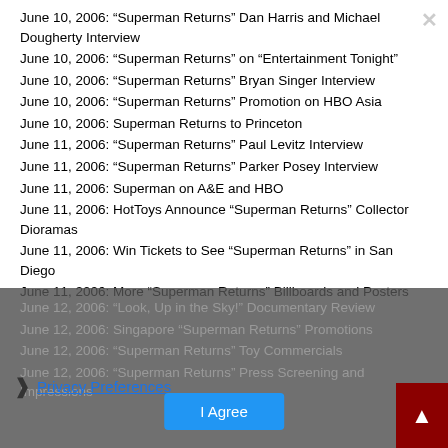June 10, 2006: “Superman Returns” Dan Harris and Michael Dougherty Interview
June 10, 2006: “Superman Returns” on “Entertainment Tonight”
June 10, 2006: “Superman Returns” Bryan Singer Interview
June 10, 2006: “Superman Returns” Promotion on HBO Asia
June 10, 2006: Superman Returns to Princeton
June 11, 2006: “Superman Returns” Paul Levitz Interview
June 11, 2006: “Superman Returns” Parker Posey Interview
June 11, 2006: Superman on A&E and HBO
June 11, 2006: HotToys Announce “Superman Returns” Collector Dioramas
June 11, 2006: Win Tickets to See “Superman Returns” in San Diego
June 11, 2006: More “Superman Returns” Billboards and Posters
June 12, 2006: “Look, Up in the Sky!” Documentary Review
June 12, 2006: Singapore “Superman Returns” Promotions
June 12, 2006: “Superman Returns” Toy Commercials
June 12, 2006: “Superman Returns” Press Screening and Impressions